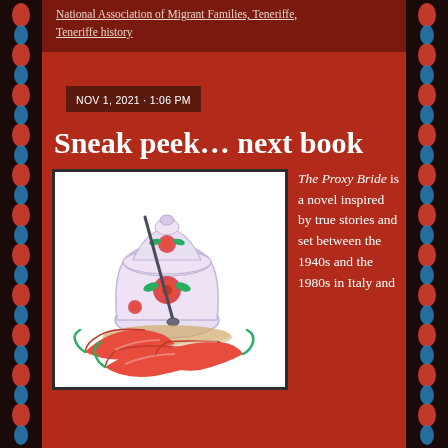National Association of Migrant Families, Teneriffe, Teneriffe history
NOV 1, 2021 · 1:06 PM
Sneak peek… next book
[Figure (illustration): Watercolor illustration of a decorative porcelain sugar bowl with a lid, painted with red roses and green leaves, with a silver spoon resting in it, and three red chili peppers arranged in front of it on a wooden surface.]
The Proxy Bride is a novel inspired by true stories and set between the 1940s and the 1980s in Italy and